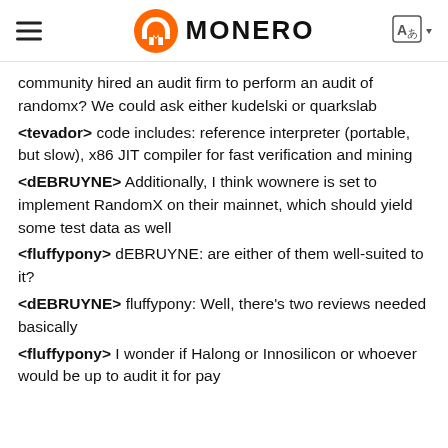MONERO
community hired an audit firm to perform an audit of randomx? We could ask either kudelski or quarkslab
<tevador> code includes: reference interpreter (portable, but slow), x86 JIT compiler for fast verification and mining
<dEBRUYNE> Additionally, I think wownere is set to implement RandomX on their mainnet, which should yield some test data as well
<fluffypony> dEBRUYNE: are either of them well-suited to it?
<dEBRUYNE> fluffypony: Well, there's two reviews needed basically
<fluffypony> I wonder if Halong or Innosilicon or whoever would be up to audit it for pay